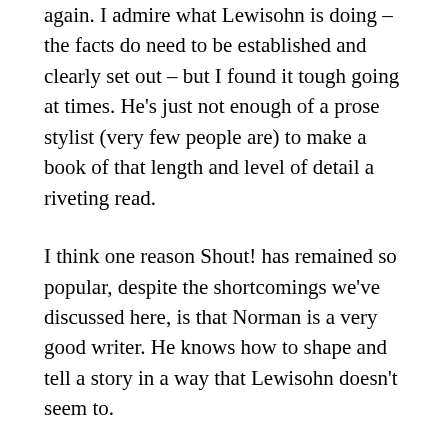again. I admire what Lewisohn is doing – the facts do need to be established and clearly set out – but I found it tough going at times. He's just not enough of a prose stylist (very few people are) to make a book of that length and level of detail a riveting read.
I think one reason Shout! has remained so popular, despite the shortcomings we've discussed here, is that Norman is a very good writer. He knows how to shape and tell a story in a way that Lewisohn doesn't seem to.
ETA: should have said that I didn't start the extended version of Tune